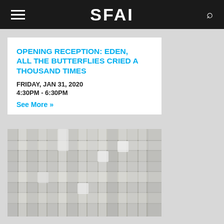SFAI
OPENING RECEPTION: EDEN, ALL THE BUTTERFLIES CRIED A THOUSAND TIMES
FRIDAY, JAN 31, 2020
4:30PM - 6:30PM
See More »
[Figure (photo): Close-up photograph of a woven textile artwork featuring interlaced strips of fabric in various shades of white, gray, and silver, creating a geometric basket-weave pattern.]